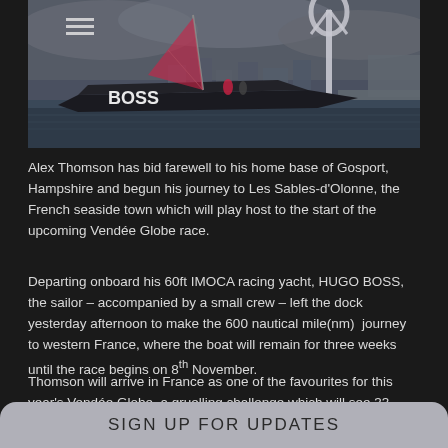[Figure (photo): A black IMOCA 60ft racing yacht named HUGO BOSS with Hugo Boss branding, sailing in a harbour with the Spinnaker Tower and city skyline visible in the background under a cloudy sky.]
Alex Thomson has bid farewell to his home base of Gosport, Hampshire and begun his journey to Les Sables-d'Olonne, the French seaside town which will play host to the start of the upcoming Vendée Globe race.
Departing onboard his 60ft IMOCA racing yacht, HUGO BOSS, the sailor – accompanied by a small crew – left the dock yesterday afternoon to make the 600 nautical mile(nm) journey to western France, where the boat will remain for three weeks until the race begins on 8th November.
Thomson will arrive in France as one of the favourites for this year's Vendée Globe, a gruelling challenge which will see 33 skippers race on their own, non-stop, without...
SIGN UP FOR UPDATES